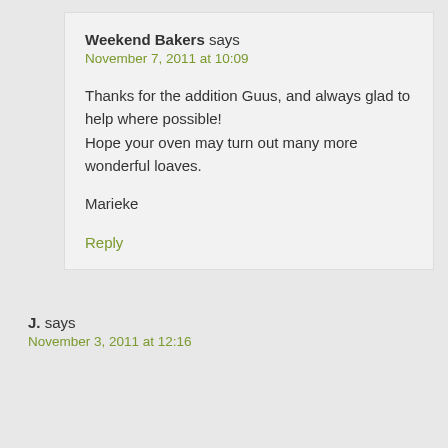Weekend Bakers says
November 7, 2011 at 10:09
Thanks for the addition Guus, and always glad to help where possible!
Hope your oven may turn out many more wonderful loaves.
Marieke
Reply
J. says
November 3, 2011 at 12:16